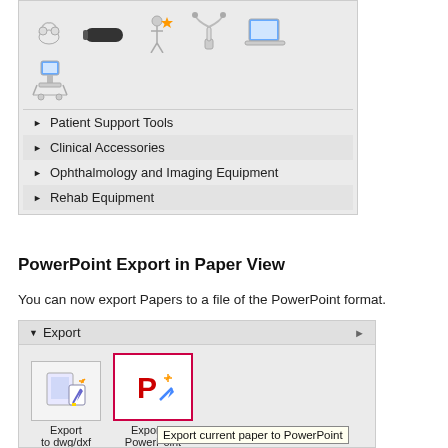[Figure (screenshot): Top panel showing a grid of medical/tech equipment icons in a light gray panel]
Patient Support Tools
Clinical Accessories
Ophthalmology and Imaging Equipment
Rehab Equipment
PowerPoint Export in Paper View
You can now export Papers to a file of the PowerPoint format.
[Figure (screenshot): Export panel showing 'Export to dwg/dxf' and 'Export to PowerPoint' buttons with tooltip 'Export current paper to PowerPoint']